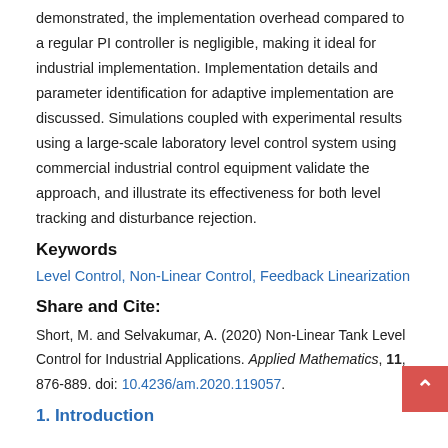demonstrated, the implementation overhead compared to a regular PI controller is negligible, making it ideal for industrial implementation. Implementation details and parameter identification for adaptive implementation are discussed. Simulations coupled with experimental results using a large-scale laboratory level control system using commercial industrial control equipment validate the approach, and illustrate its effectiveness for both level tracking and disturbance rejection.
Keywords
Level Control, Non-Linear Control, Feedback Linearization
Share and Cite:
Short, M. and Selvakumar, A. (2020) Non-Linear Tank Level Control for Industrial Applications. Applied Mathematics, 11, 876-889. doi: 10.4236/am.2020.119057.
1. Introduction